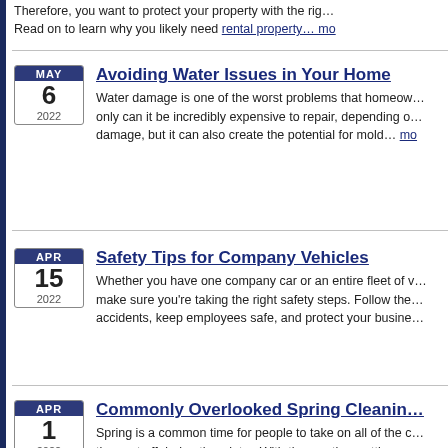Therefore, you want to protect your property with the right... Read on to learn why you likely need rental property... mo
Avoiding Water Issues in Your Home
Water damage is one of the worst problems that homeowners face. Not only can it be incredibly expensive to repair, depending on the extent of the damage, but it can also create the potential for mold... mo
Safety Tips for Company Vehicles
Whether you have one company car or an entire fleet of vehicles, you need to make sure you're taking the right safety steps. Follow these tips to prevent accidents, keep employees safe, and protect your business.
Commonly Overlooked Spring Cleaning
Spring is a common time for people to take on all of the chores and tasks they put off during the winter. With the weather getting warmer, it's a great time to tackle jobs both inside and outside your... more ›